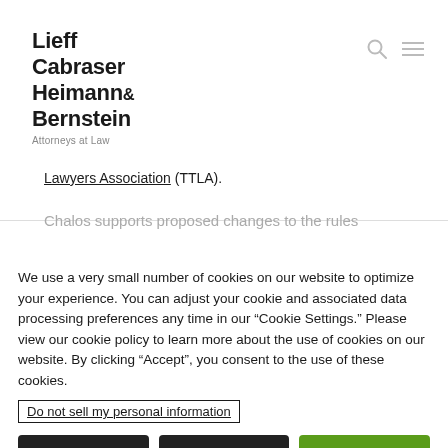[Figure (logo): Lieff Cabraser Heimann & Bernstein law firm logo with text 'Attorneys at Law']
Lawyers Association (TTLA).
Chalos supports proposed changes to the rules
We use a very small number of cookies on our website to optimize your experience. You can adjust your cookie and associated data processing preferences any time in our “Cookie Settings.” Please view our cookie policy to learn more about the use of cookies on our website. By clicking “Accept”, you consent to the use of these cookies.
Do not sell my personal information
Cookie Policy
Cookie Settings
ACCEPT